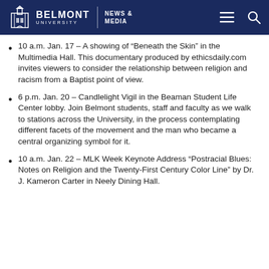BELMONT UNIVERSITY | NEWS & MEDIA
10 a.m. Jan. 17 – A showing of “Beneath the Skin” in the Multimedia Hall. This documentary produced by ethicsdaily.com invites viewers to consider the relationship between religion and racism from a Baptist point of view.
6 p.m. Jan. 20 – Candlelight Vigil in the Beaman Student Life Center lobby. Join Belmont students, staff and faculty as we walk to stations across the University, in the process contemplating different facets of the movement and the man who became a central organizing symbol for it.
10 a.m. Jan. 22 – MLK Week Keynote Address “Postracial Blues: Notes on Religion and the Twenty-First Century Color Line” by Dr. J. Kameron Carter in Neely Dining Hall.